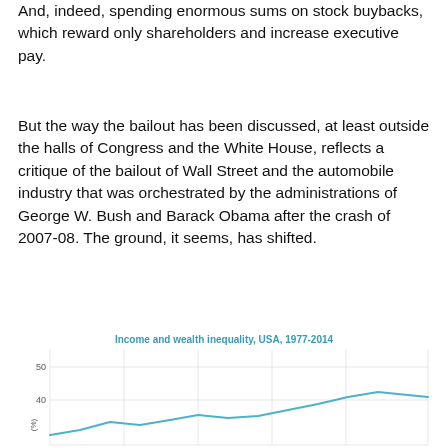And, indeed, spending enormous sums on stock buybacks, which reward only shareholders and increase executive pay.
But the way the bailout has been discussed, at least outside the halls of Congress and the White House, reflects a critique of the bailout of Wall Street and the automobile industry that was orchestrated by the administrations of George W. Bush and Barack Obama after the crash of 2007-08. The ground, it seems, has shifted.
[Figure (line-chart): Line chart showing income and wealth inequality in the USA from 1977 to 2014. The y-axis shows percentage values with gridlines at 40 and 50. A teal/cyan line rises from lower values around 1977, dips around 1990-1995, then rises sharply toward 2014 reaching approximately 35-38%.]